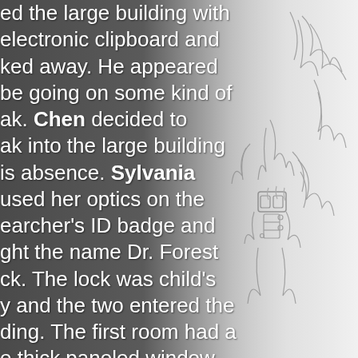ed the large building with electronic clipboard and ked away. He appeared be going on some kind of ak. Chen decided to ak into the large building is absence. Sylvania used her optics on the earcher's ID badge and ght the name Dr. Forest ck. The lock was child's y and the two entered the ding. The first room had a e thick paneled window king deeper into the ding with a series of rument panels built into a g desk. To one side of that s a heavy door similar to
[Figure (illustration): Pencil sketch illustration of a figure with flowing hair and ornate mechanical or armored elements, rendered in black and white line art on a gradient grey background.]